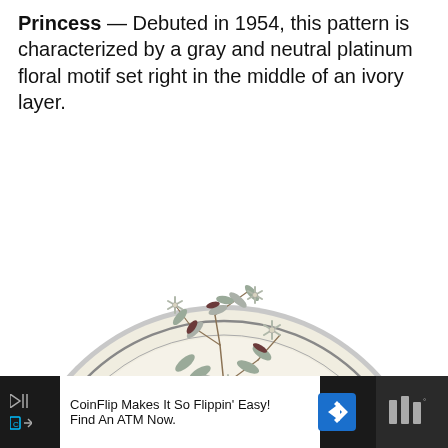Princess — Debuted in 1954, this pattern is characterized by a gray and neutral platinum floral motif set right in the middle of an ivory layer.
[Figure (photo): A ceramic plate with an ivory/cream background and a thin platinum/gray rim band, featuring a delicate gray and neutral-toned floral motif in the center. Only the upper portion of the plate is visible.]
[Figure (screenshot): An advertisement banner at the bottom of the page: dark background with a white content area showing 'CoinFlip Makes It So Flippin' Easy! Find An ATM Now.' with a blue arrow icon, media player icons on the left, and a dark block on the right with a weather/app icon.]